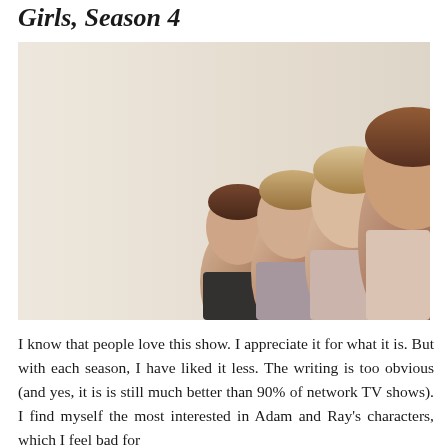Girls, Season 4
[Figure (photo): Promotional image for Girls Season 4 showing four women in profile looking upward against a light background]
I know that people love this show. I appreciate it for what it is. But with each season, I have liked it less. The writing is too obvious (and yes, it is is still much better than 90% of network TV shows). I find myself the most interested in Adam and Ray's characters, which I feel bad for